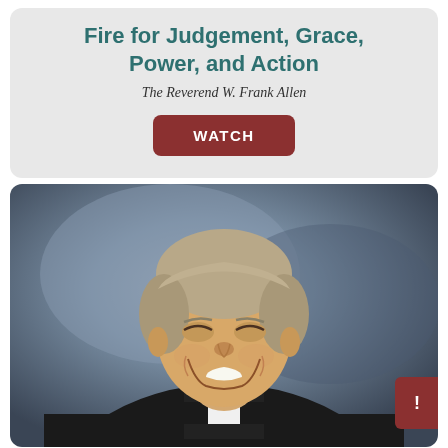Fire for Judgement, Grace, Power, and Action
The Reverend W. Frank Allen
WATCH
[Figure (photo): Portrait photo of The Reverend W. Frank Allen, an older gentleman with gray hair, smiling broadly, wearing a black clerical shirt with a white collar tab. The background is a blurred gray-blue studio backdrop.]